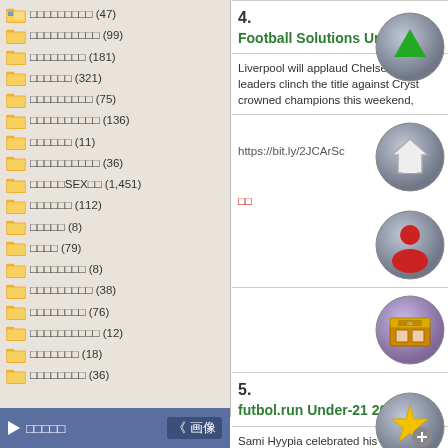□□□□□□□□□ (47)
□□□□□□□□□□ (99)
□□□□□□□□ (181)
□□□□□□ (321)
□□□□□□□□□ (75)
□□□□□□□□□□ (136)
□□□□□□ (11)
□□□□□□□□□□ (36)
□□□□□SEX□□ (1,451)
□□□□□□ (112)
□□□□□ (8)
□□□□ (79)
□□□□□□□□ (8)
□□□□□□□□□ (38)
□□□□□□□□ (76)
□□□□□□□□□□ (12)
□□□□□□□ (18)
□□□□□□□□ (36)
▶ □□□□□    《 画像
4.
Football Solutions Under-21
Liverpool will applaud Chelsea on to leaders clinch the title against Cryst crowned champions this weekend,
https://bit.ly/2JCArSc
□□
5.
futbol.run Under-21 2004 - Hi
Sami Hyypia celebrated his 41st bir player. Dejan Lovren posts photo of